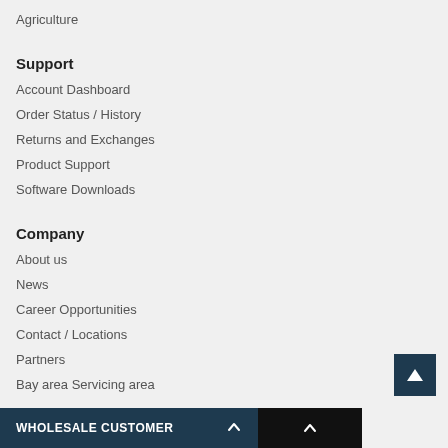Agriculture
Support
Account Dashboard
Order Status / History
Returns and Exchanges
Product Support
Software Downloads
Company
About us
News
Career Opportunities
Contact / Locations
Partners
Bay area Servicing area
WHOLESALE CUSTOMER